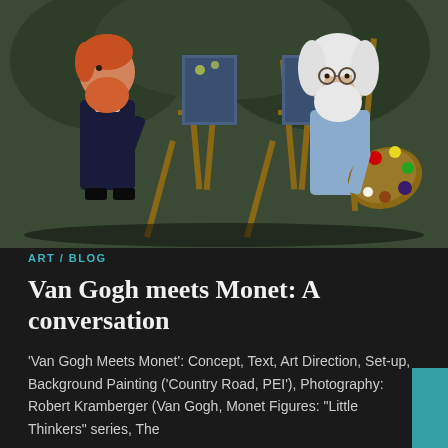[Figure (photo): Two puppet figurines — one depicting Van Gogh (red beard, dark clothing) and one depicting Monet (white hair, glasses, blue shirt, holding a painter's palette) — positioned at wooden easels with small paintings, against a nature background painting.]
ART / BLOG
Van Gogh meets Monet: A conversation
'Van Gogh Meets Monet': Concept, Text, Art Direction, Set-up, Background Painting ('Country Road, PEI'), Photography: Robert Kramberger (Van Gogh, Monet Figures: "Little Thinkers" series, The